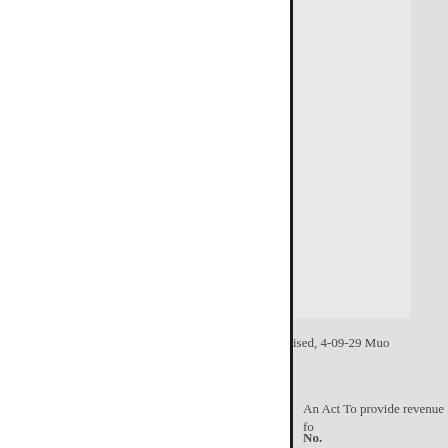ised, 4-09-29 Muo
An Act To provide revenue fo
No.